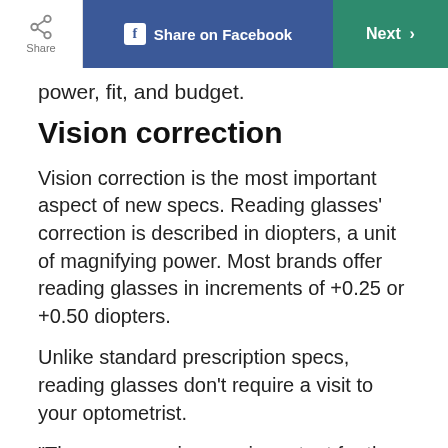Share | Share on Facebook | Next
power, fit, and budget.
Vision correction
Vision correction is the most important aspect of new specs. Reading glasses' correction is described in diopters, a unit of magnifying power. Most brands offer reading glasses in increments of +0.25 or +0.50 diopters.
Unlike standard prescription specs, reading glasses don't require a visit to your optometrist.
"The eye exam is more important for the